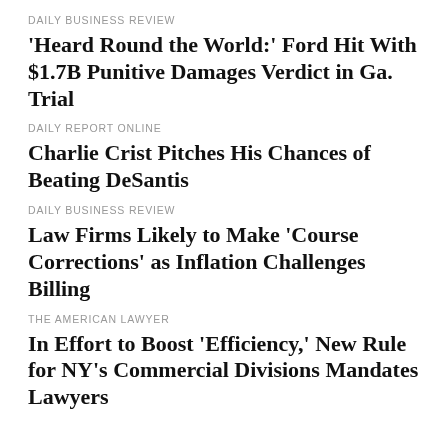DAILY BUSINESS REVIEW
'Heard Round the World:' Ford Hit With $1.7B Punitive Damages Verdict in Ga. Trial
DAILY REPORT ONLINE
Charlie Crist Pitches His Chances of Beating DeSantis
DAILY BUSINESS REVIEW
Law Firms Likely to Make 'Course Corrections' as Inflation Challenges Billing
THE AMERICAN LAWYER
In Effort to Boost 'Efficiency,' New Rule for NY's Commercial Divisions Mandates Lawyers